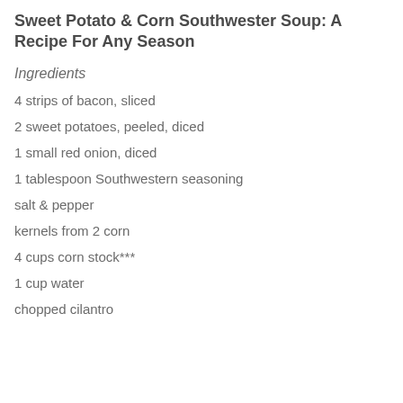Sweet Potato & Corn Southwester Soup: A Recipe For Any Season
Ingredients
4 strips of bacon, sliced
2 sweet potatoes, peeled, diced
1 small red onion, diced
1 tablespoon Southwestern seasoning
salt & pepper
kernels from 2 corn
4 cups corn stock***
1 cup water
chopped cilantro